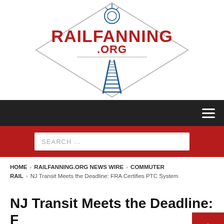[Figure (logo): Railfanning.org logo: diamond/rhombus shape outline in gray, with a lantern icon at the top, bold red text 'RAILFANNING.ORG' in the center, and a blue illustration of railway tracks converging to a vanishing point at the bottom.]
Navigation bar with hamburger menu icon
SEARCH …
HOME > RAILFANNING.ORG NEWS WIRE > COMMUTER RAIL > NJ Transit Meets the Deadline: FRA Certifies PTC System
NJ Transit Meets the Deadline: FRA Certifies PTC System